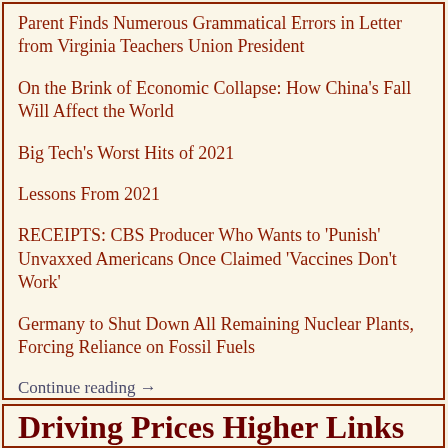Parent Finds Numerous Grammatical Errors in Letter from Virginia Teachers Union President
On the Brink of Economic Collapse: How China's Fall Will Affect the World
Big Tech's Worst Hits of 2021
Lessons From 2021
RECEIPTS: CBS Producer Who Wants to 'Punish' Unvaxxed Americans Once Claimed 'Vaccines Don't Work'
Germany to Shut Down All Remaining Nuclear Plants, Forcing Reliance on Fossil Fuels
Continue reading →
Driving Prices Higher
Driving Prices Higher Links